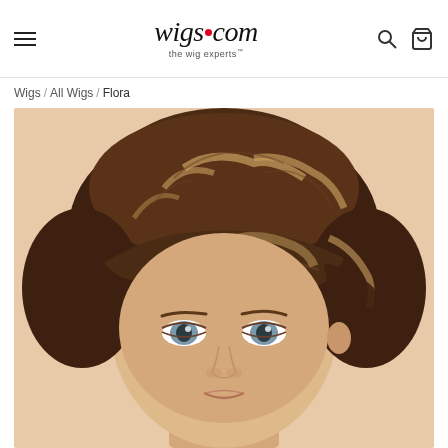wigs.com — the wig experts [navigation header with hamburger menu, logo, search and cart icons]
Wigs / All Wigs / Flora
[Figure (photo): Close-up product photo of a woman wearing the Flora wig — a short, layered pixie-cut wig in medium brown with blonde highlights. The woman has blue-gray eyes and the wig features wispy bangs and textured layers.]